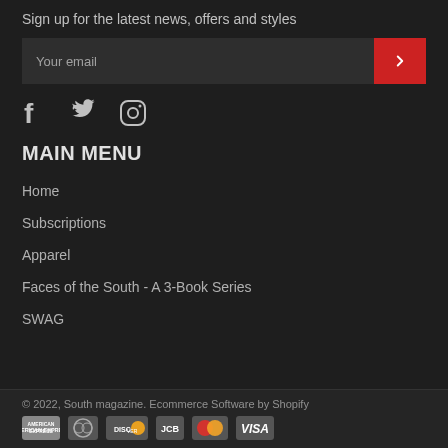Sign up for the latest news, offers and styles
Your email
[Figure (illustration): Social media icons: Facebook, Twitter, Instagram]
MAIN MENU
Home
Subscriptions
Apparel
Faces of the South - A 3-Book Series
SWAG
© 2022, South magazine. Ecommerce Software by Shopify
[Figure (illustration): Payment icons: American Express, Diners Club, Discover, JCB, Mastercard, Visa]